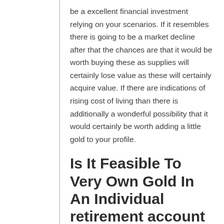be a excellent financial investment relying on your scenarios. If it resembles there is going to be a market decline after that the chances are that it would be worth buying these as supplies will certainly lose value as these will certainly acquire value. If there are indications of rising cost of living than there is additionally a wonderful possibility that it would certainly be worth adding a little gold to your profile.
Is It Feasible To Very Own Gold In An Individual retirement account
Not only is it possible to possess gold in